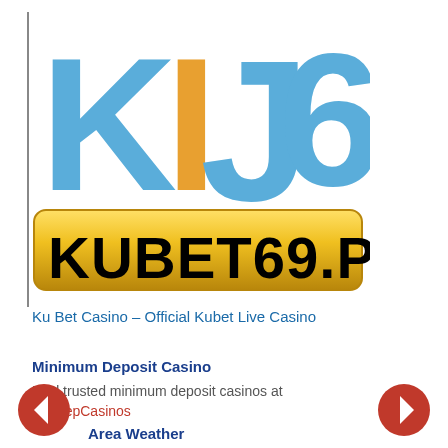[Figure (logo): KIJ69 logo with blue and orange letters, and KUBET69.PRO banner in gold/black below]
Ku Bet Casino – Official Kubet Live Casino
Minimum Deposit Casino
Find trusted minimum deposit casinos at MinDepCasinos
Area Weather